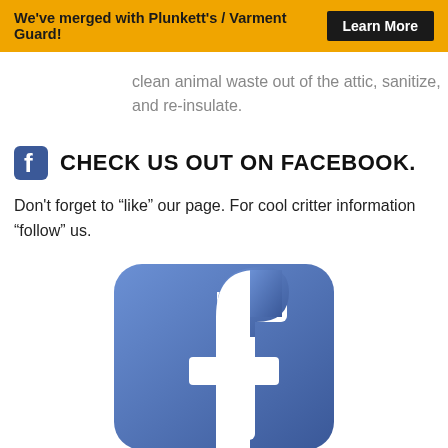We've merged with Plunkett's / Varment Guard! Learn More
clean animal waste out of the attic, sanitize, and re-insulate.
CHECK US OUT ON FACEBOOK.
Don't forget to “like” our page. For cool critter information “follow” us.
[Figure (logo): Facebook logo: blue rounded square with white lowercase f icon]